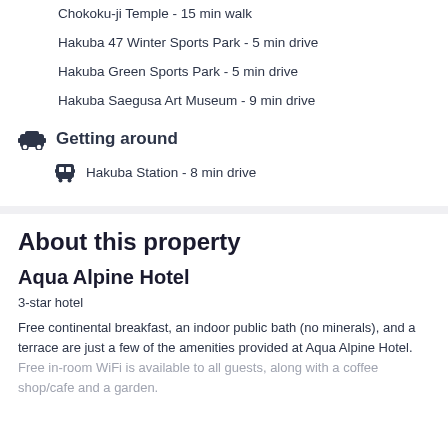Chokoku-ji Temple - 15 min walk
Hakuba 47 Winter Sports Park - 5 min drive
Hakuba Green Sports Park - 5 min drive
Hakuba Saegusa Art Museum - 9 min drive
Getting around
Hakuba Station - 8 min drive
About this property
Aqua Alpine Hotel
3-star hotel
Free continental breakfast, an indoor public bath (no minerals), and a terrace are just a few of the amenities provided at Aqua Alpine Hotel. Free in-room WiFi is available to all guests, along with a coffee shop/cafe and a garden.